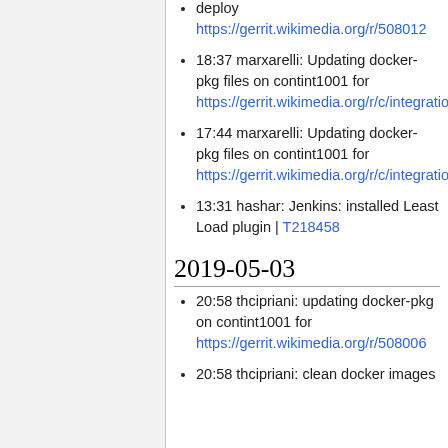deploy https://gerrit.wikimedia.org/r/508012
18:37 marxarelli: Updating docker-pkg files on contint1001 for https://gerrit.wikimedia.org/r/c/integration/config/+/508370
17:44 marxarelli: Updating docker-pkg files on contint1001 for https://gerrit.wikimedia.org/r/c/integration/config/+/508036
13:31 hashar: Jenkins: installed Least Load plugin | T218458
2019-05-03
20:58 thcipriani: updating docker-pkg on contint1001 for https://gerrit.wikimedia.org/r/508006
20:58 thcipriani: clean docker images